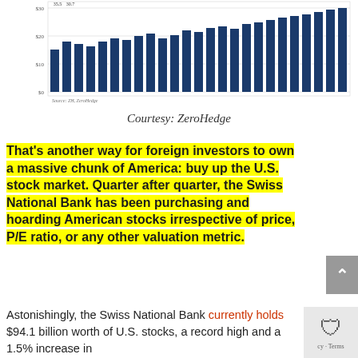[Figure (bar-chart): Bar chart showing quarterly US stock holdings by the Swiss National Bank over multiple quarters. Bars are dark blue. Y-axis shows dollar values ($0, $10, $20, $30). X-axis shows quarterly dates from around 2012 to 2017. Source: ZH, ZeroHedge.]
Courtesy: ZeroHedge
That's another way for foreign investors to own a massive chunk of America: buy up the U.S. stock market. Quarter after quarter, the Swiss National Bank has been purchasing and hoarding American stocks irrespective of price, P/E ratio, or any other valuation metric.
Astonishingly, the Swiss National Bank currently holds $94.1 billion worth of U.S. stocks, a record high and a 1.5% increase in